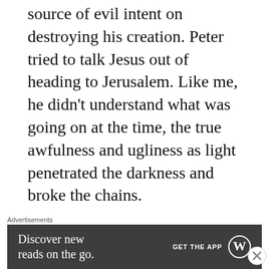source of evil intent on destroying his creation. Peter tried to talk Jesus out of heading to Jerusalem. Like me, he didn't understand what was going on at the time, the true awfulness and ugliness as light penetrated the darkness and broke the chains.
Please don't look away.
Like most of us, Peter thought that Jesus
Advertisements
[Figure (other): Advertisement banner for WordPress app: 'Discover new reads on the go. GET THE APP' with WordPress logo]